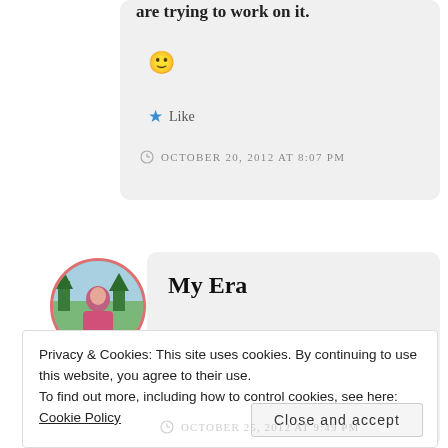are trying to work on it. 🙂
★ Like
OCTOBER 20, 2012 AT 8:07 PM
My Era
Privacy & Cookies: This site uses cookies. By continuing to use this website, you agree to their use. To find out more, including how to control cookies, see here: Cookie Policy
Close and accept
OCTOBER 25, 2012 AT 9:49 PM